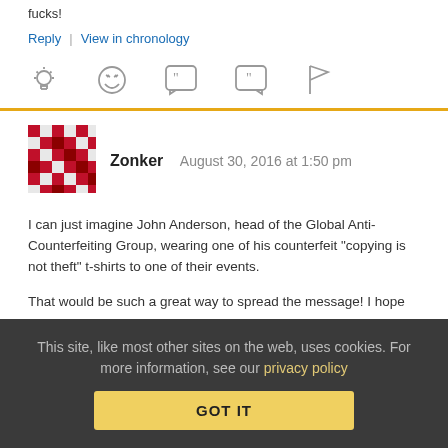fucks!
Reply | View in chronology
[Figure (other): Row of five comment/reaction icons: lightbulb, laughing face, open-quote speech bubble, close-quote speech bubble, flag]
Zonker   August 30, 2016 at 1:50 pm
I can just imagine John Anderson, head of the Global Anti-Counterfeiting Group, wearing one of his counterfeit “copying is not theft” t-shirts to one of their events.
That would be such a great way to spread the message! I hope
This site, like most other sites on the web, uses cookies. For more information, see our privacy policy  GOT IT